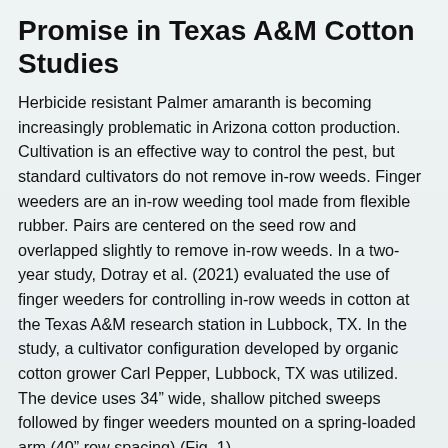Finger Weeders Shows Good Promise in Texas A&M Cotton Studies
Herbicide resistant Palmer amaranth is becoming increasingly problematic in Arizona cotton production. Cultivation is an effective way to control the pest, but standard cultivators do not remove in-row weeds. Finger weeders are an in-row weeding tool made from flexible rubber. Pairs are centered on the seed row and overlapped slightly to remove in-row weeds. In a two-year study, Dotray et al. (2021) evaluated the use of finger weeders for controlling in-row weeds in cotton at the Texas A&M research station in Lubbock, TX. In the study, a cultivator configuration developed by organic cotton grower Carl Pepper, Lubbock, TX was utilized. The device uses 34” wide, shallow pitched sweeps followed by finger weeders mounted on a spring-loaded arm (40” row spacing) (Fig. 1).